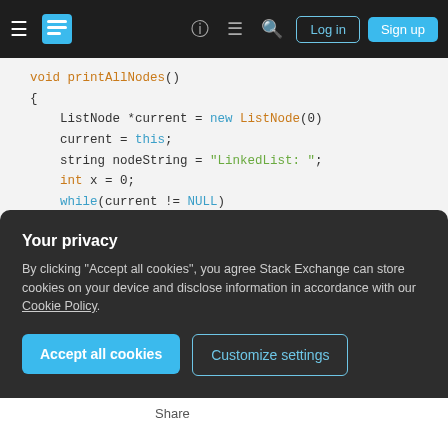Stack Exchange navigation bar with hamburger menu, logo, help, chat, search icons, Log in and Sign up buttons
[Figure (screenshot): Code snippet showing C++ printAllNodes() function with syntax highlighting: orange keywords (void, int, while), blue keywords (new, this, NULL), green string literals. Code includes ListNode pointer manipulation, nodeString concatenation, and loop traversal.]
Your privacy
By clicking "Accept all cookies", you agree Stack Exchange can store cookies on your device and disclose information in accordance with our Cookie Policy.
Accept all cookies
Customize settings
Share